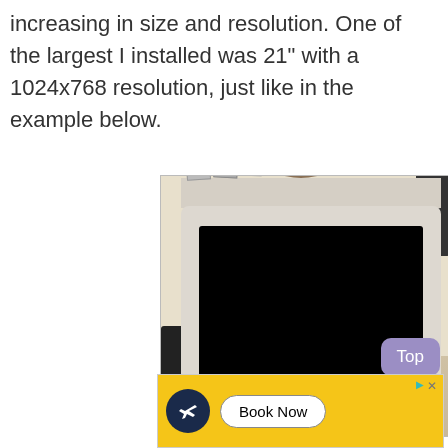increasing in size and resolution. One of the largest I installed was 21" with a 1024x768 resolution, just like in the example below.
[Figure (photo): A cat sitting on top of a white CRT computer monitor. There are computer speakers on either side, photos/stickers on top of the monitor, and clutter on the desk below. The monitor screen is black.]
[Figure (other): Advertisement banner with yellow background showing an airplane icon and a 'Book Now' button, with close/skip controls in the top right corner.]